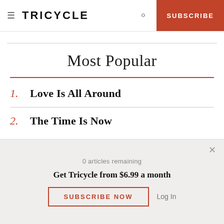≡ TRICYCLE  🔍  SUBSCRIBE
Most Popular
1. Love Is All Around
2. The Time Is Now
0 articles remaining
Get Tricycle from $6.99 a month
SUBSCRIBE NOW   Log In